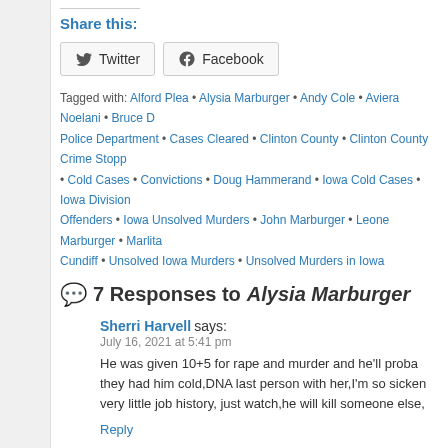Share this:
Twitter  Facebook
Tagged with: Alford Plea • Alysia Marburger • Andy Cole • Aviera Noelani • Bruce [?] Police Department • Cases Cleared • Clinton County • Clinton County Crime Stopp[ers] • Cold Cases • Convictions • Doug Hammerand • Iowa Cold Cases • Iowa Division [of Sex] Offenders • Iowa Unsolved Murders • John Marburger • Leone Marburger • Marlita [?] Cundiff • Unsolved Iowa Murders • Unsolved Murders in Iowa
7 Responses to Alysia Marburger
Sherri Harvell says:
July 16, 2021 at 5:41 pm
He was given 10+5 for rape and murder and he'll proba[bly get out early,] they had him cold,DNA last person with her,I'm so sicken[ed by this,he has] very little job history, just watch,he will kill someone else,
Reply